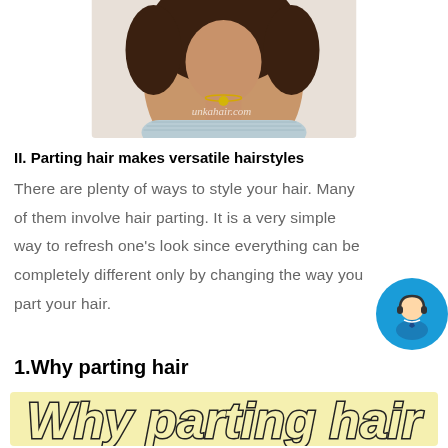[Figure (photo): Photo of a woman with curly hair wearing a strapless light blue top, with watermark text 'unkahair.com']
II. Parting hair makes versatile hairstyles
There are plenty of ways to style your hair. Many of them involve hair parting. It is a very simple way to refresh one's look since everything can be completely different only by changing the way you part your hair.
1.Why parting hair
[Figure (illustration): Yellow banner image with large italic text reading 'Why parting hair' in a hand-drawn style font with dark outline on pale yellow background]